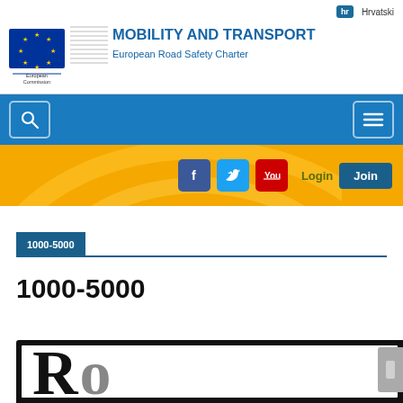hr Hrvatski
[Figure (logo): European Commission logo with EU flag stars emblem and architectural line graphic]
MOBILITY AND TRANSPORT
European Road Safety Charter
[Figure (screenshot): Navigation bar with search icon (magnifying glass) and hamburger menu icon on blue background]
[Figure (screenshot): Social media bar on yellow/amber background with Facebook, Twitter, YouTube icons, Login text and Join button, road arc graphic]
1000-5000
1000-5000
[Figure (photo): Partially visible black-framed image showing large serif letter beginning of a word, white background]